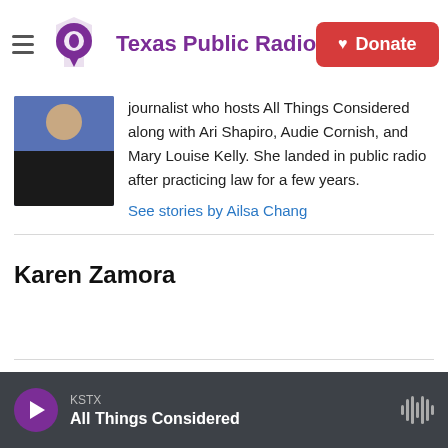Texas Public Radio | Donate
[Figure (photo): Photo of Ailsa Chang (partial, cropped at top)]
journalist who hosts All Things Considered along with Ari Shapiro, Audie Cornish, and Mary Louise Kelly. She landed in public radio after practicing law for a few years.
See stories by Ailsa Chang
Karen Zamora
KSTX All Things Considered